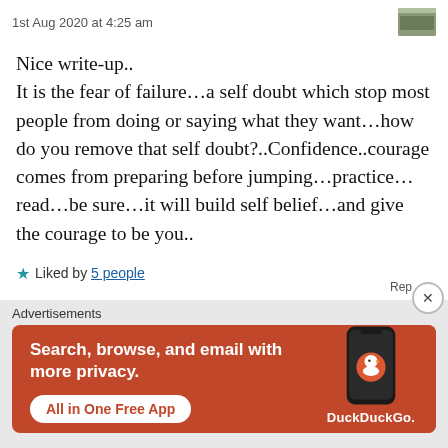1st Aug 2020 at 4:25 am
Nice write-up..
It is the fear of failure…a self doubt which stop most people from doing or saying what they want…how do you remove that self doubt?..Confidence..courage comes from preparing before jumping…practice…read…be sure…it will build self belief…and give the courage to be you..
★ Liked by 5 people
Advertisements
[Figure (infographic): DuckDuckGo advertisement banner on orange/red background. Text reads: Search, browse, and email with more privacy. All in One Free App. Shows a smartphone with DuckDuckGo logo.]